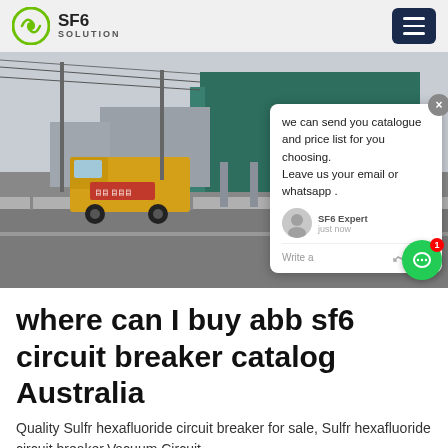SF6 SOLUTION
[Figure (photo): Street-level photo of an industrial electrical substation with a yellow truck on a road in the foreground, overhead power lines, and large green-roofed industrial buildings in the background. A chat popup overlay is visible on the right side of the image.]
where can I buy abb sf6 circuit breaker catalog Australia
Quality Sulfr hexafluoride circuit breaker for sale, Sulfr hexafluoride circuit breaker,Vacuum Circuit...